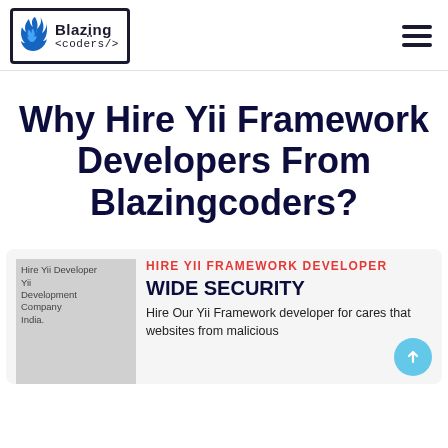Blazing <coders/>
Why Hire Yii Framework Developers From Blazingcoders?
HIRE YII FRAMEWORK DEVELOPER
WIDE SECURITY
Hire Our Yii Framework developer for cares that websites from malicious